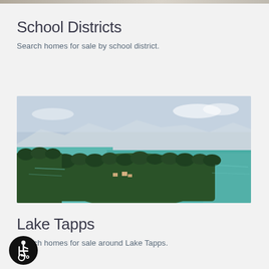[Figure (photo): Thin strip of a photo at top of page showing people]
School Districts
Search homes for sale by school district.
[Figure (photo): Aerial panoramic photo of Lake Tapps area showing turquoise water surrounded by dense green forest and homes, with mountains visible in the background]
Lake Tapps
Search homes for sale around Lake Tapps.
[Figure (illustration): Accessibility icon — black circle with white wheelchair user symbol]